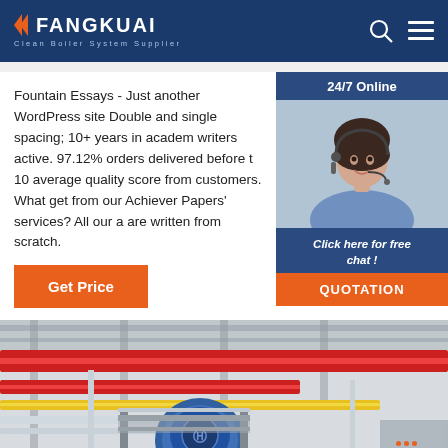FANGKUAI — Clean Boiler System Supplier
Fountain Essays - Just another WordPress site Double and single spacing; 10+ years in academic writers active. 97.12% orders delivered before t 10 average quality score from customers. What get from our Achiever Papers' services? All our a are written from scratch.
[Figure (screenshot): Orange 'Get Price' button]
[Figure (photo): Customer service representative - 24/7 Online chat widget with 'Click here for free chat!' text and QUOTATION button]
[Figure (photo): Industrial boiler plant interior showing red and yellow pipes and blue cylindrical boiler equipment with TOP navigation button overlay]